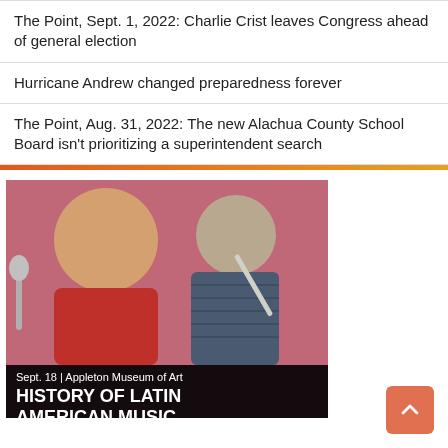The Point, Sept. 1, 2022: Charlie Crist leaves Congress ahead of general election
Hurricane Andrew changed preparedness forever
The Point, Aug. 31, 2022: The new Alachua County School Board isn't prioritizing a superintendent search
[Figure (photo): Two musicians performing on stage; a man in a red shirt at a microphone on the left and a younger person playing a wind instrument on the right. Below the photo is a black banner reading 'Sept. 18 | Appleton Museum of Art' and 'HISTORY OF LATIN AMERICAN MUSIC'.]
Sept. 18 | Appleton Museum of Art
HISTORY OF LATIN AMERICAN MUSIC